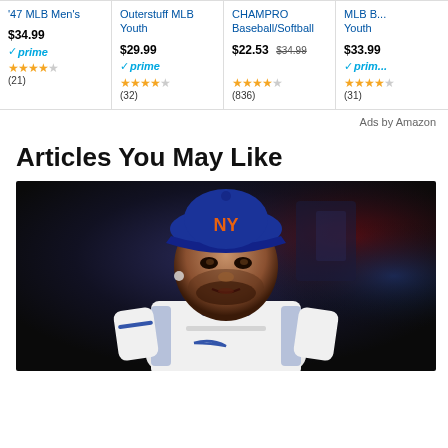[Figure (other): Ad card 1: '47 MLB Men's, $34.99, prime, 4.5 stars (21)]
[Figure (other): Ad card 2: Outerstuff MLB Youth, $29.99, prime, 4.5 stars (32)]
[Figure (other): Ad card 3: CHAMPRO Baseball/Softball, $22.53 (was $34.99), 4.5 stars (836)]
[Figure (other): Ad card 4: MLB [Youth], $33.99, prime, 4.5 stars (31) - partially visible]
Ads by Amazon
Articles You May Like
[Figure (photo): Photo of a New York Mets baseball player wearing blue cap with NY Mets logo, in white uniform with blue trim, looking forward. Dark background.]